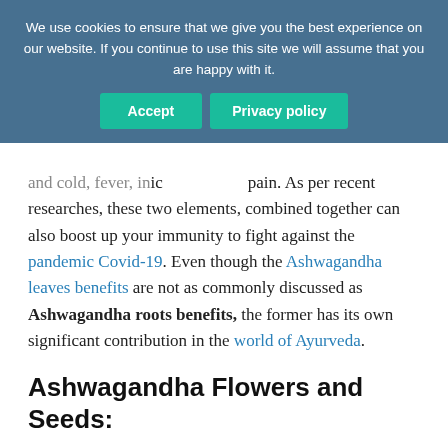We use cookies to ensure that we give you the best experience on our website. If you continue to use this site we will assume that you are happy with it.
and cold, fever, in...ic...pain. As per recent researches, these two elements, combined together can also boost up your immunity to fight against the pandemic Covid-19. Even though the Ashwagandha leaves benefits are not as commonly discussed as Ashwagandha roots benefits, the former has its own significant contribution in the world of Ayurveda.
Ashwagandha Flowers and Seeds:
It is important that you know Ashwagandha flowers contain potential diuretic, and aphrodisiac elements that are massively used centrally for two reasons:
Fertility Treatment